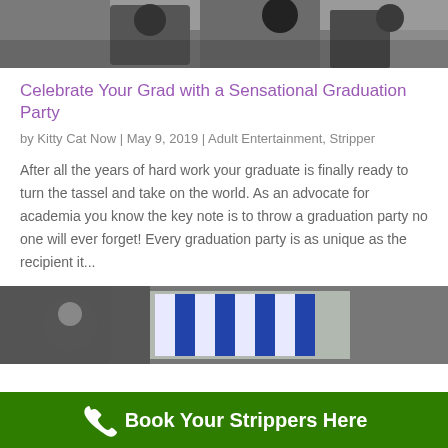[Figure (photo): Graduation ceremony photo showing graduates in caps and gowns]
Celebrate Your Grad with a Sensational Graduation Party
by Kitty Cat Now | May 9, 2019 | Adult Entertainment, Stripper
After all the years of hard work your graduate is finally ready to turn the tassel and take on the world. As an advocate for academia you know the key note is to throw a graduation party no one will ever forget! Every graduation party is as unique as the recipient it...
[Figure (photo): Close-up of graduation attire with blue and white striped fabric]
Book Your Strippers Here